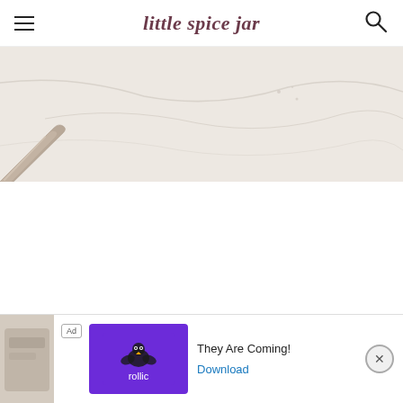little spice jar
[Figure (photo): Top-down view of a marble surface with a metal spoon or utensil visible in the lower-left corner, white/grey marble texture with subtle veining]
[Figure (infographic): Advertisement banner: 'Ad' badge, Rollic game app logo in purple, text 'They Are Coming!' with blue 'Download' link, close button (X) on right side, partial game screenshot on left]